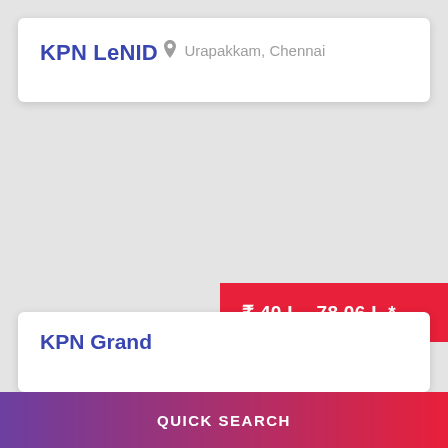KPN LeNID
Urapakkam, Chennai
[Figure (map): Light grey map background area]
₹ 40 L - 78.06 L *
KPN Grand
QUICK SEARCH